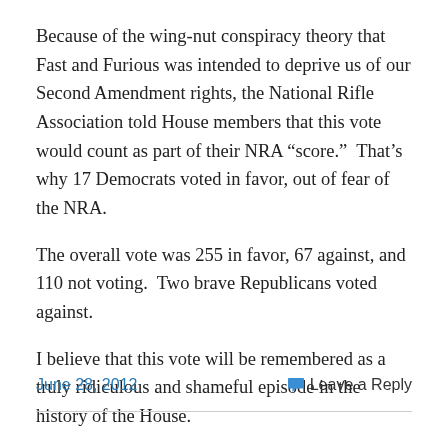Because of the wing-nut conspiracy theory that Fast and Furious was intended to deprive us of our Second Amendment rights, the National Rifle Association told House members that this vote would count as part of their NRA “score.”  That’s why 17 Democrats voted in favor, out of fear of the NRA.
The overall vote was 255 in favor, 67 against, and 110 not voting.  Two brave Republicans voted against.
I believe that this vote will be remembered as a truly ridiculous and shameful episode in the history of the House.
June 28, 2012    Leave a Reply